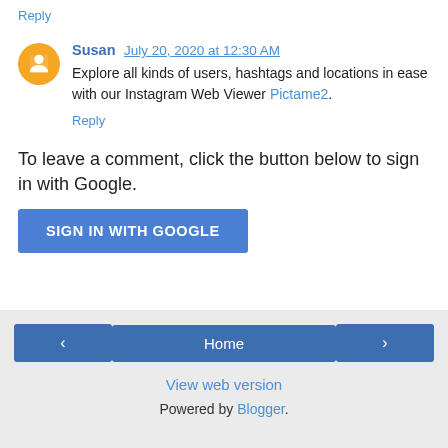Reply
Susan  July 20, 2020 at 12:30 AM
Explore all kinds of users, hashtags and locations in ease with our Instagram Web Viewer Pictame2.
Reply
To leave a comment, click the button below to sign in with Google.
SIGN IN WITH GOOGLE
Home  View web version  Powered by Blogger.